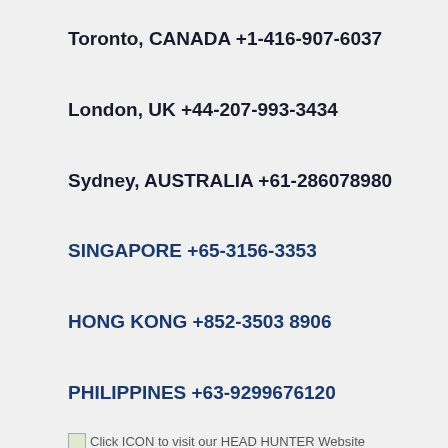Toronto, CANADA +1-416-907-6037
London, UK +44-207-993-3434
Sydney, AUSTRALIA +61-286078980
SINGAPORE +65-3156-3353
HONG KONG +852-3503 8906
PHILIPPINES +63-9299676120
Click ICON to visit our HEAD HUNTER Website